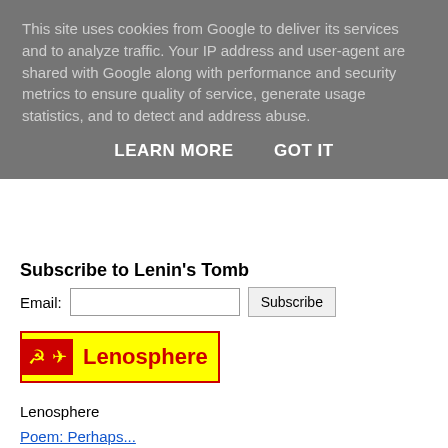This site uses cookies from Google to deliver its services and to analyze traffic. Your IP address and user-agent are shared with Google along with performance and security metrics to ensure quality of service, generate usage statistics, and to detect and address abuse.
LEARN MORE   GOT IT
Subscribe to Lenin's Tomb
Email: [input] Subscribe
[Figure (logo): Lenosphere badge with red background, hammer and sickle icon, and yellow text reading Lenosphere]
Lenosphere
Poem: Perhaps...
Michael Rosen
Circulation: Lenin (as a character). By Robert Treadway, Poem...